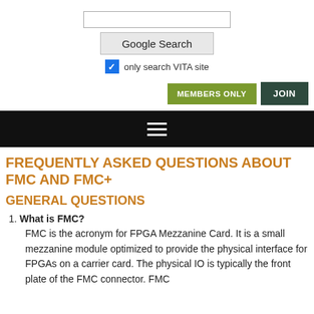[Figure (screenshot): Google Search input box and button with 'only search VITA site' checkbox]
[Figure (screenshot): MEMBERS ONLY and JOIN buttons navigation row]
[Figure (screenshot): Black navigation bar with hamburger menu icon]
FREQUENTLY ASKED QUESTIONS ABOUT FMC AND FMC+
GENERAL QUESTIONS
What is FMC?
FMC is the acronym for FPGA Mezzanine Card. It is a small mezzanine module optimized to provide the physical interface for FPGAs on a carrier card. The physical IO is typically the front plate of the FMC connector. FMC